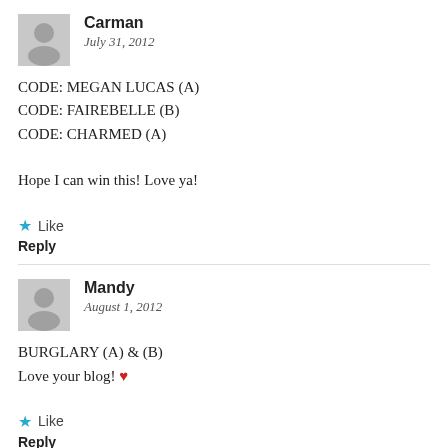Carman
July 31, 2012
CODE: MEGAN LUCAS (A)
CODE: FAIREBELLE (B)
CODE: CHARMED (A)

Hope I can win this! Love ya!
★ Like
Reply
Mandy
August 1, 2012
BURGLARY (A) & (B)
Love your blog! ❤
★ Like
Reply